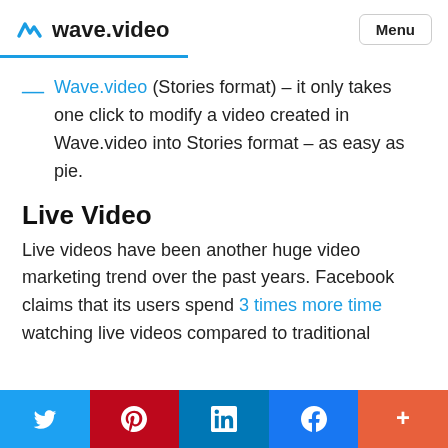wave.video  Menu
Wave.video (Stories format) – it only takes one click to modify a video created in Wave.video into Stories format – as easy as pie.
Live Video
Live videos have been another huge video marketing trend over the past years. Facebook claims that its users spend 3 times more time watching live videos compared to traditional
Twitter | Pinterest | LinkedIn | Facebook | More